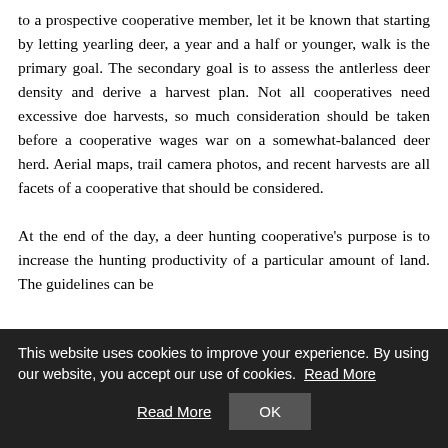to a prospective cooperative member, let it be known that starting by letting yearling deer, a year and a half or younger, walk is the primary goal. The secondary goal is to assess the antlerless deer density and derive a harvest plan. Not all cooperatives need excessive doe harvests, so much consideration should be taken before a cooperative wages war on a somewhat-balanced deer herd. Aerial maps, trail camera photos, and recent harvests are all facets of a cooperative that should be considered.

At the end of the day, a deer hunting cooperative's purpose is to increase the hunting productivity of a particular amount of land. The guidelines can be
This website uses cookies to improve your experience. By using our website, you accept our use of cookies. Read More | OK